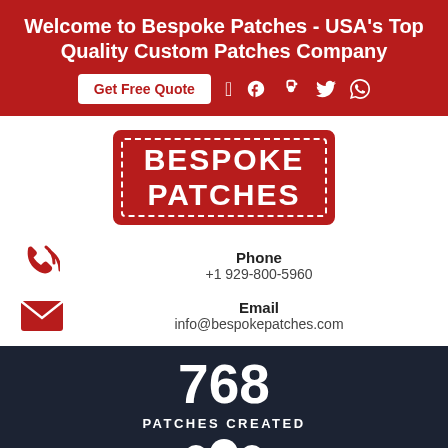Welcome to Bespoke Patches - USA's Top Quality Custom Patches Company
[Figure (logo): Bespoke Patches logo - red background with white text and dashed border]
Phone
+1 929-800-5960
Email
info@bespokepatches.com
768
PATCHES CREATED
[Figure (illustration): White group/people icon (three figures) on dark background]
725